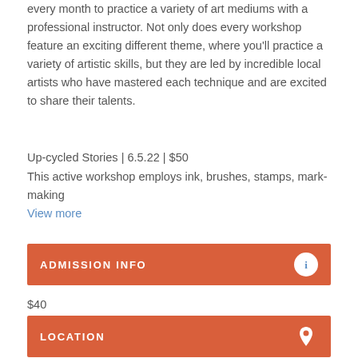every month to practice a variety of art mediums with a professional instructor. Not only does every workshop feature an exciting different theme, where you'll practice a variety of artistic skills, but they are led by incredible local artists who have mastered each technique and are excited to share their talents.
Up-cycled Stories | 6.5.22 | $50
This active workshop employs ink, brushes, stamps, mark-making
View more
ADMISSION INFO
$40
Official Website
LOCATION